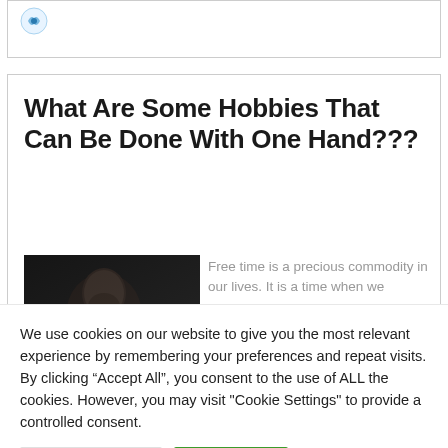[Figure (logo): Circular logo icon with blue/green coloring, partially visible in top card]
What Are Some Hobbies That Can Be Done With One Hand???
[Figure (photo): Dark photo of a man holding a small object close to his mouth against a dark background]
Free time is a precious commodity in our lives. It is a time when we
We use cookies on our website to give you the most relevant experience by remembering your preferences and repeat visits. By clicking “Accept All”, you consent to the use of ALL the cookies. However, you may visit "Cookie Settings" to provide a controlled consent.